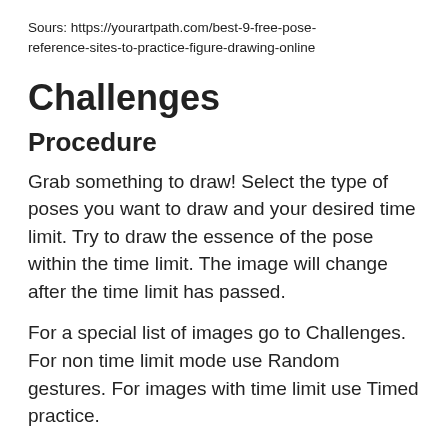Sours: https://yourartpath.com/best-9-free-pose-reference-sites-to-practice-figure-drawing-online
Challenges
Procedure
Grab something to draw! Select the type of poses you want to draw and your desired time limit. Try to draw the essence of the pose within the time limit. The image will change after the time limit has passed.
For a special list of images go to Challenges. For non time limit mode use Random gestures. For images with time limit use Timed practice.
Note: Challenges are always 20 images each session.